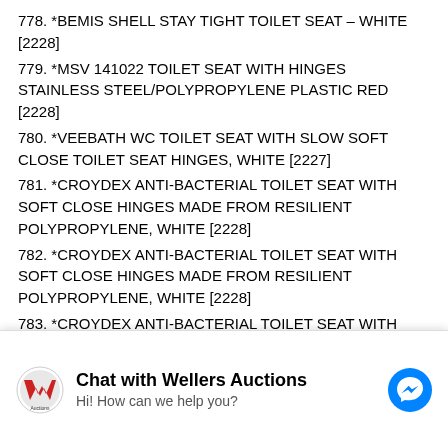778. *BEMIS SHELL STAY TIGHT TOILET SEAT – WHITE [2228]
779. *MSV 141022 TOILET SEAT WITH HINGES STAINLESS STEEL/POLYPROPYLENE PLASTIC RED [2228]
780. *VEEBATH WC TOILET SEAT WITH SLOW SOFT CLOSE TOILET SEAT HINGES, WHITE [2227]
781. *CROYDEX ANTI-BACTERIAL TOILET SEAT WITH SOFT CLOSE HINGES MADE FROM RESILIENT POLYPROPYLENE, WHITE [2228]
782. *CROYDEX ANTI-BACTERIAL TOILET SEAT WITH SOFT CLOSE HINGES MADE FROM RESILIENT POLYPROPYLENE, WHITE [2228]
783. *CROYDEX ANTI-BACTERIAL TOILET SEAT WITH SOFT CLOSE HINGES MADE FROM RESILIENT POLYPROPYLENE, WHITE [2228]
784. *BODUM BISTRO 2-SLICE TOASTER – BLACK [2228]
785. *DUALIT CLASSIC 2-SLOT TOASTER – STAINLESS STEEL [2228]
786. *DELONGHI CTOV4003.BG VINTAGE ICONA 4 SLICE TOASTER – CREAM [2227]
787. *KENWOOD TTM480RD SCENE 1800W 4 SLICE TOASTER WITH DEFROST FUNCTION IN RED [2227]
Chat with Wellers Auctions
Hi! How can we help you?